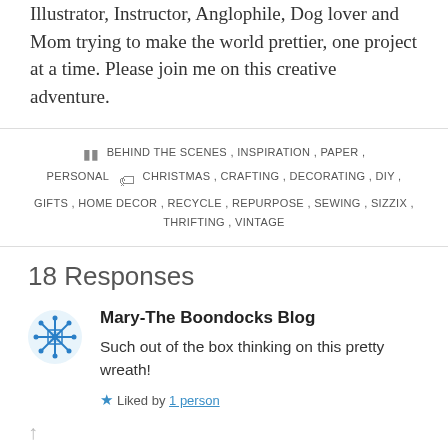Illustrator, Instructor, Anglophile, Dog lover and Mom trying to make the world prettier, one project at a time. Please join me on this creative adventure.
BEHIND THE SCENES, INSPIRATION, PAPER, PERSONAL   CHRISTMAS, CRAFTING, DECORATING, DIY, GIFTS, HOME DECOR, RECYCLE, REPURPOSE, SEWING, SIZZIX, THRIFTING, VINTAGE
18 Responses
Mary-The Boondocks Blog
Such out of the box thinking on this pretty wreath!
Liked by 1 person